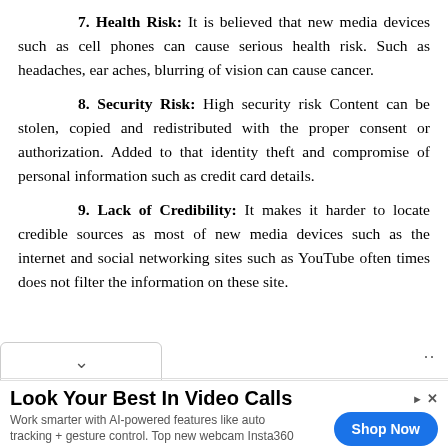7. Health Risk: It is believed that new media devices such as cell phones can cause serious health risk. Such as headaches, ear aches, blurring of vision can cause cancer.
8. Security Risk: High security risk Content can be stolen, copied and redistributed with the proper consent or authorization. Added to that identity theft and compromise of personal information such as credit card details.
9. Lack of Credibility: It makes it harder to locate credible sources as most of new media devices such as the internet and social networking sites such as YouTube often times does not filter the information on these site.